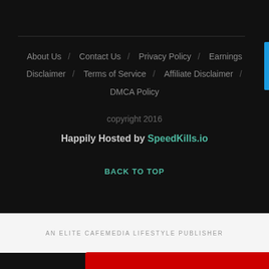About Us / Contact Us / Privacy Policy / Earnings Disclaimer / Terms of Service / Affiliate Disclaimer / DMCA Policy
copyright 2016
Happily Hosted by SpeedKills.io
BACK TO TOP
AN ELITE CAFEMEDIA LIFESTYLE PUBLISHER
[Figure (screenshot): Advertisement banner for BitLife mobile game showing 'Murder Do it!' text]